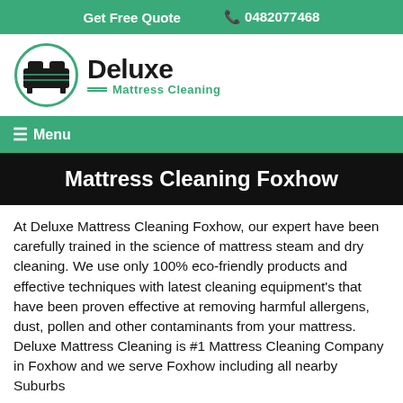Get Free Quote   0482077468
[Figure (logo): Deluxe Mattress Cleaning logo with circular mattress icon and green text]
≡ Menu
Mattress Cleaning Foxhow
At Deluxe Mattress Cleaning Foxhow, our expert have been carefully trained in the science of mattress steam and dry cleaning. We use only 100% eco-friendly products and effective techniques with latest cleaning equipment's that have been proven effective at removing harmful allergens, dust, pollen and other contaminants from your mattress. Deluxe Mattress Cleaning is #1 Mattress Cleaning Company in Foxhow and we serve Foxhow including all nearby Suburbs